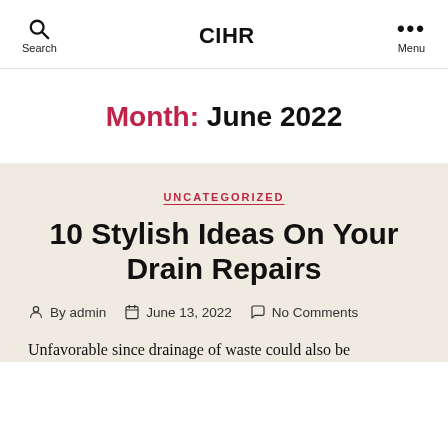Search  CIHR  Menu
Month: June 2022
UNCATEGORIZED
10 Stylish Ideas On Your Drain Repairs
By admin   June 13, 2022   No Comments
Unfavorable since drainage of waste could also be